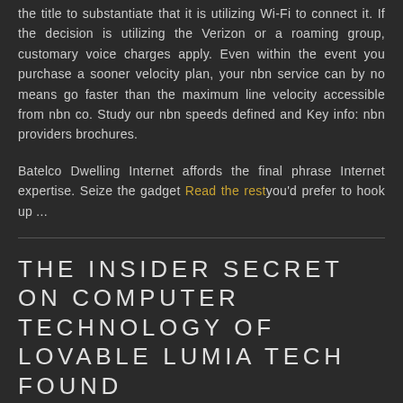the title to substantiate that it is utilizing Wi-Fi to connect it. If the decision is utilizing the Verizon or a roaming group, customary voice charges apply. Even within the event you purchase a sooner velocity plan, your nbn service can by no means go faster than the maximum line velocity accessible from nbn co. Study our nbn speeds defined and Key info: nbn providers brochures.
Batelco Dwelling Internet affords the final phrase Internet expertise. Seize the gadget Read the rest you'd prefer to hook up ...
THE INSIDER SECRET ON COMPUTER TECHNOLOGY OF LOVABLE LUMIA TECH FOUND